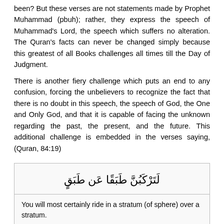been? But these verses are not statements made by Prophet Muhammad (pbuh); rather, they express the speech of Muhammad's Lord, the speech which suffers no alteration. The Quran's facts can never be changed simply because this greatest of all Books challenges all times till the Day of Judgment.
There is another fiery challenge which puts an end to any confusion, forcing the unbelievers to recognize the fact that there is no doubt in this speech, the speech of God, the One and Only God, and that it is capable of facing the unknown regarding the past, the present, and the future. This additional challenge is embedded in the verses saying, (Quran, 84:19)
لَتَرْكَبُنَّ طَبَقًا عَن طَبَقٍ
You will most certainly ride in a stratum (of sphere) over a stratum.
This statement was made about one thousand and four hundred and fifty years ago when there were no planes, rockets, spacecraft, nor attempts to probe the earth's outer sphere, and when means of transportation were confined to riding the backs of animals. God, Glory and Be is name, His beauty included in Him included, the Holy Q...